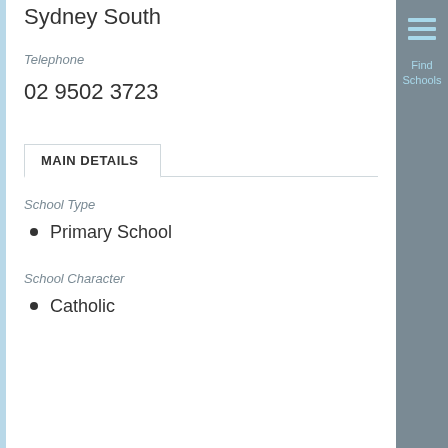Sydney South
Telephone
02 9502 3723
MAIN DETAILS
School Type
Primary School
School Character
Catholic